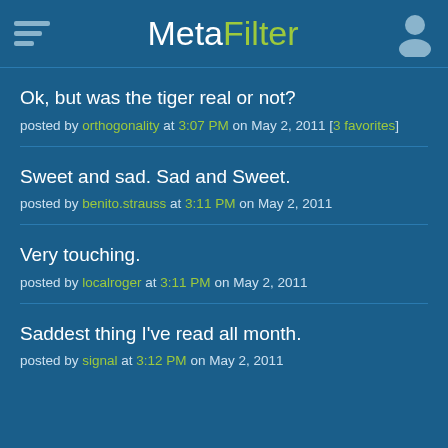MetaFilter
Ok, but was the tiger real or not?
posted by orthogonality at 3:07 PM on May 2, 2011 [3 favorites]
Sweet and sad. Sad and Sweet.
posted by benito.strauss at 3:11 PM on May 2, 2011
Very touching.
posted by localroger at 3:11 PM on May 2, 2011
Saddest thing I've read all month.
posted by signal at 3:12 PM on May 2, 2011